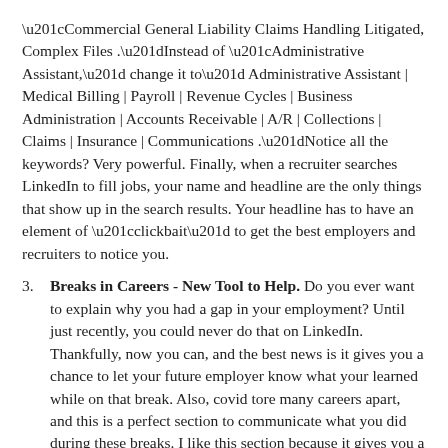“Commercial General Liability Claims Handling Litigated, Complex Files .”Instead of “Administrative Assistant,” change it to” Administrative Assistant | Medical Billing | Payroll | Revenue Cycles | Business Administration | Accounts Receivable | A/R | Collections | Claims | Insurance | Communications .”Notice all the keywords? Very powerful. Finally, when a recruiter searches LinkedIn to fill jobs, your name and headline are the only things that show up in the search results. Your headline has to have an element of “clickbait” to get the best employers and recruiters to notice you.
Breaks in Careers - New Tool to Help. Do you ever want to explain why you had a gap in your employment? Until just recently, you could never do that on LinkedIn. Thankfully, now you can, and the best news is it gives you a chance to let your future employer know what your learned while on that break. Also, covid tore many careers apart, and this is a perfect section to communicate what you did during these breaks. I like this section because it gives you a chance to be authentic, and employers like that…a lot! To set up your